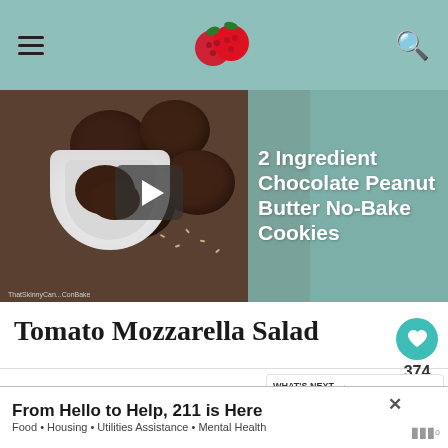Navigation header with hamburger menu, logo, and search icon
[Figure (screenshot): Video thumbnail of chocolate peanut butter no-bake cookies in a white bowl, with play button overlay and title text '2 Ingredient Chocolate Peanut Butter No-Bake Cookies']
Tomato Mozzarella Salad
[Figure (photo): What's Next panel showing Roasted Asparagus with a small thumbnail image]
I was reminded of my failed attempt at making balsamic vinegar pearls when my friend, Juliana, of
[Figure (screenshot): Ad banner: From Hello to Help, 211 is Here. Food • Housing • Utilities Assistance • Mental Health]